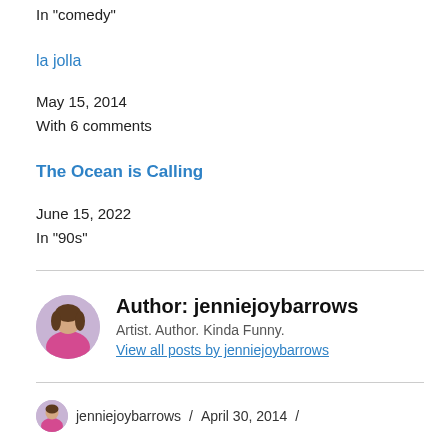In "comedy"
la jolla
May 15, 2014
With 6 comments
The Ocean is Calling
June 15, 2022
In "90s"
Author: jenniejoybarrows
Artist. Author. Kinda Funny.
View all posts by jenniejoybarrows
jenniejoybarrows / April 30, 2014 /